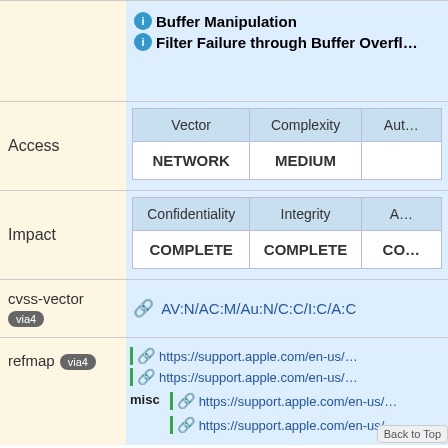Buffer Manipulation
Filter Failure through Buffer Overflow
Access
| Vector | Complexity | Aut… |
| --- | --- | --- |
| NETWORK | MEDIUM |  |
Impact
| Confidentiality | Integrity | A… |
| --- | --- | --- |
| COMPLETE | COMPLETE | CO… |
cvss-vector via4
AV:N/AC:M/Au:N/C:C/I:C/A:C
refmap via4
misc
https://support.apple.com/en-us/
https://support.apple.com/en-us/
https://support.apple.com/en-us/
https://support.apple.com/en-us/